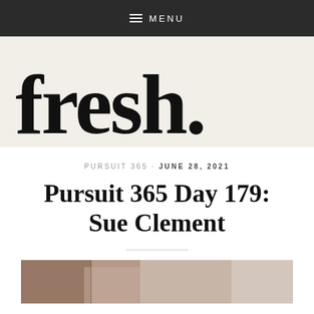MENU
[Figure (logo): fresh. magazine logo in large serif black text on beige background]
PURSUIT 365 · JUNE 28, 2021
Pursuit 365 Day 179: Sue Clement
[Figure (photo): Partial photo of interior scene, bottom of page]